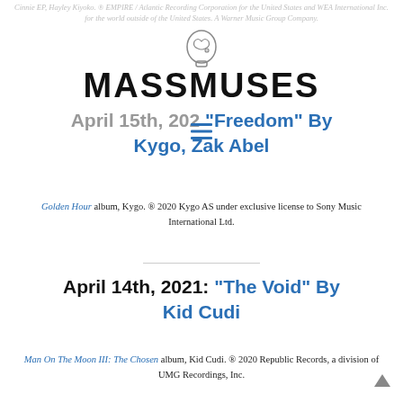Cinnie EP, Hayley Kiyoko. ® EMPIRE / Atlantic Recording Corporation for the United States and WEA International Inc. for the world outside of the United States. A Warner Music Group Company.
MASSMUSES
April 15th, 2021: "Freedom" By Kygo, Zak Abel
Golden Hour album, Kygo. ® 2020 Kygo AS under exclusive license to Sony Music International Ltd.
April 14th, 2021: "The Void" By Kid Cudi
Man On The Moon III: The Chosen album, Kid Cudi. ® 2020 Republic Records, a division of UMG Recordings, Inc.